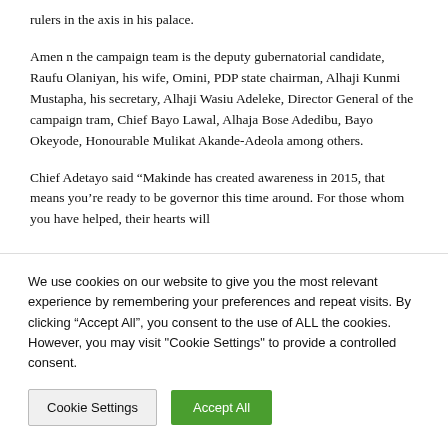rulers in the axis in his palace.
Amen n the campaign team is the deputy gubernatorial candidate, Raufu Olaniyan, his wife, Omini, PDP state chairman, Alhaji Kunmi Mustapha, his secretary, Alhaji Wasiu Adeleke, Director General of the campaign tram, Chief Bayo Lawal, Alhaja Bose Adedibu, Bayo Okeyode, Honourable Mulikat Akande-Adeola among others.
Chief Adetayo said “Makinde has created awareness in 2015, that means you’re ready to be governor this time around. For those whom you have helped, their hearts will
We use cookies on our website to give you the most relevant experience by remembering your preferences and repeat visits. By clicking “Accept All”, you consent to the use of ALL the cookies. However, you may visit "Cookie Settings" to provide a controlled consent.